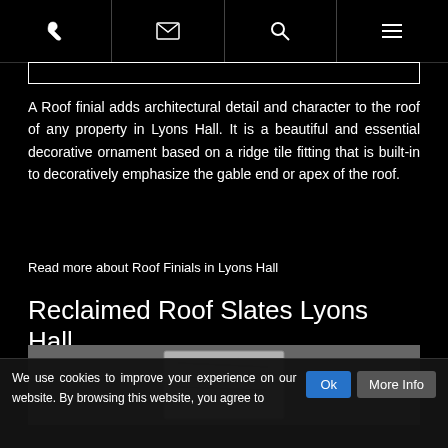Navigation bar with phone, email, search, and menu icons
A Roof finial adds architectural detail and character to the roof of any property in Lyons Hall. It is a beautiful and essential decorative ornament based on a ridge tile fitting that is built-in to decoratively emphasize the gable end or apex of the roof.
Read more about Roof Finials in Lyons Hall
Reclaimed Roof Slates Lyons Hall
[Figure (photo): Photo of a reclaimed roof slate tile on grey background]
We use cookies to improve your experience on our website. By browsing this website, you agree to